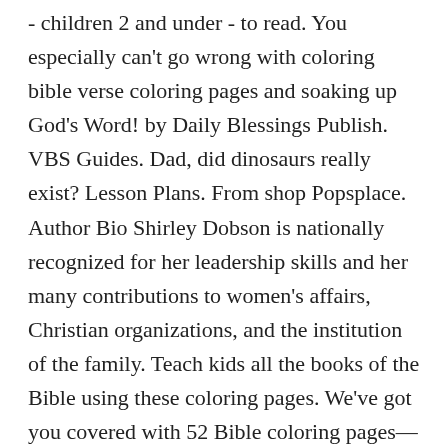- children 2 and under - to read. You especially can't go wrong with coloring bible verse coloring pages and soaking up God's Word! by Daily Blessings Publish. VBS Guides. Dad, did dinosaurs really exist? Lesson Plans. From shop Popsplace. Author Bio Shirley Dobson is nationally recognized for her leadership skills and her many contributions to women's affairs, Christian organizations, and the institution of the family. Teach kids all the books of the Bible using these coloring pages. We've got you covered with 52 Bible coloring pages—plus a kid-friendly retelling of each story—to take you through the whole year. The Bible says so. Paperback $9.97 $ 9. 80 List List Price $24.95 $ 24 . Then how old are they? Bible Memory Verse Coloring Book (31 Pages) Advanced for Young Adults or Pre-Teens. Of course not, son. Creating 5th Day Coloring Sheet • 64 original beautiful drawings created especially